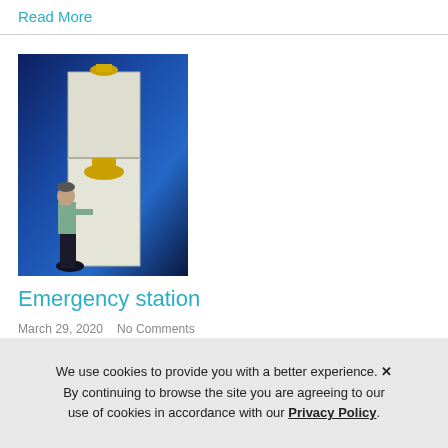Read More
[Figure (photo): A person standing in front of a tall white emergency safety station cabinet with yellow equipment, against a blue background.]
Emergency station
March 29, 2020   No Comments
We use cookies to provide you with a better experience. ✕ By continuing to browse the site you are agreeing to our use of cookies in accordance with our Privacy Policy.